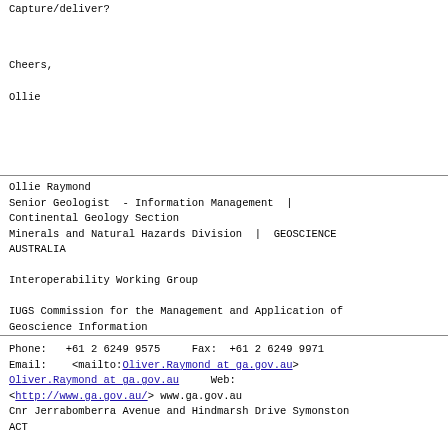Capture/deliver?
Cheers,

Ollie
Ollie Raymond
Senior Geologist  - Information Management  |
Continental Geology Section
Minerals and Natural Hazards Division  |  GEOSCIENCE
AUSTRALIA

Interoperability Working Group

IUGS Commission for the Management and Application of
Geoscience Information
Phone:   +61 2 6249 9575     Fax:   +61 2 6249 9971
Email:    <mailto:Oliver.Raymond at ga.gov.au>
Oliver.Raymond at ga.gov.au     Web:
<http://www.ga.gov.au/> www.ga.gov.au
Cnr Jerrabomberra Avenue and Hindmarsh Drive Symonston
ACT